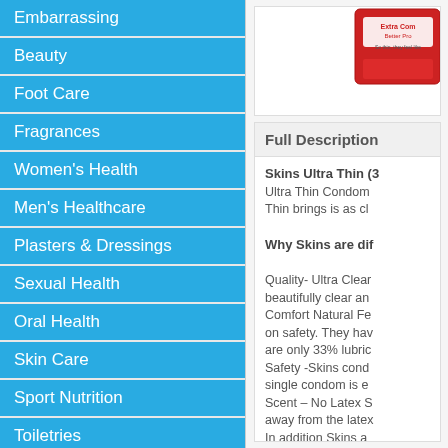Embarrassing
Beauty
Foot Care
Fragrances
Women's Health
Men's Healthcare
Plasters & Dressings
Sexual Health
Oral Health
Skin Care
Sport Nutrition
Toiletries
Travel Care
Pet Care
Vitamins
[Figure (photo): Red product package - Skins Ultra Thin condom box, partially visible]
Full Description
Skins Ultra Thin (3 Ultra Thin Condom Thin brings is as cl

Why Skins are dif

Quality- Ultra Clear beautifully clear an Comfort Natural Fe on safety. They hav are only 33% lubric Safety -Skins cond single condom is e Scent – No Latex S away from the latex In addition Skins a reminder to "Never